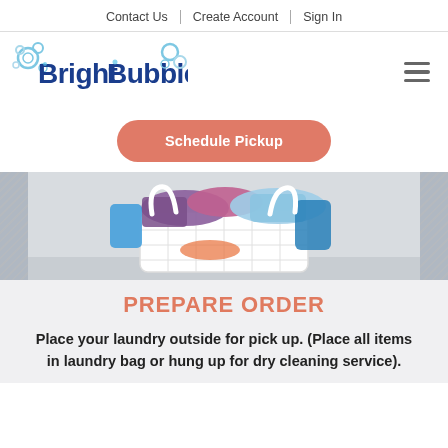Contact Us | Create Account | Sign In
[Figure (logo): Bright Bubble logo with blue bubble letters and colorful soap bubbles]
Schedule Pickup
[Figure (photo): Photo of a white laundry basket filled with colorful towels and clothing items in purple, blue, and light blue]
PREPARE ORDER
Place your laundry outside for pick up. (Place all items in laundry bag or hung up for dry cleaning service).